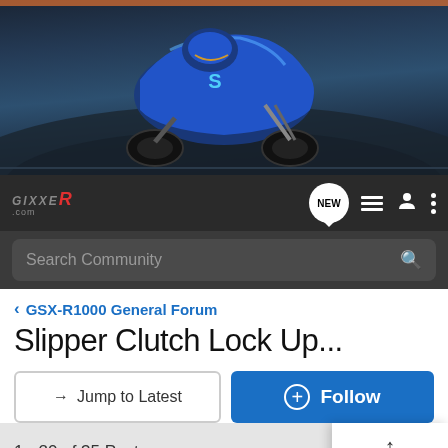[Figure (photo): Blue Suzuki GSX-R motorcycle racer leaning on track, dark background]
[Figure (logo): GixxeR .com logo with red R letter on dark nav bar]
Search Community
< GSX-R1000 General Forum
Slipper Clutch Lock Up...
→ Jump to Latest
+ Follow
1 - 20 of 35 Posts
1 of 2 ▶
nobody2u · Registered